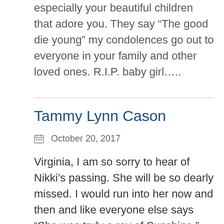especially your beautiful children that adore you. They say “The good die young” my condolences go out to everyone in your family and other loved ones. R.I.P. baby girl…..
Tammy Lynn Cason
October 20, 2017
Virginia, I am so sorry to hear of Nikki’s passing. She will be so dearly missed. I would run into her now and then and like everyone else says “She was truly a ray of Sunshine.” My prayers are with you and Prestina.